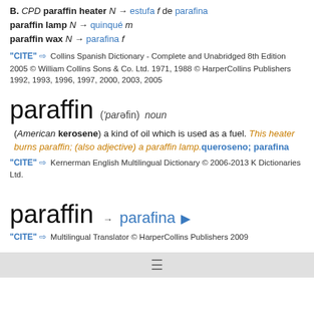B. CPD paraffin heater N → estufa f de parafina paraffin lamp N → quinqué m paraffin wax N → parafina f
"CITE" ⇨ Collins Spanish Dictionary - Complete and Unabridged 8th Edition 2005 © William Collins Sons & Co. Ltd. 1971, 1988 © HarperCollins Publishers 1992, 1993, 1996, 1997, 2000, 2003, 2005
paraffin  ('parəfin) noun
(American kerosene) a kind of oil which is used as a fuel. This heater burns paraffin; (also adjective) a paraffin lamp. queroseno; parafina
"CITE" ⇨ Kernerman English Multilingual Dictionary © 2006-2013 K Dictionaries Ltd.
paraffin → parafina 🔊
"CITE" ⇨ Multilingual Translator © HarperCollins Publishers 2009